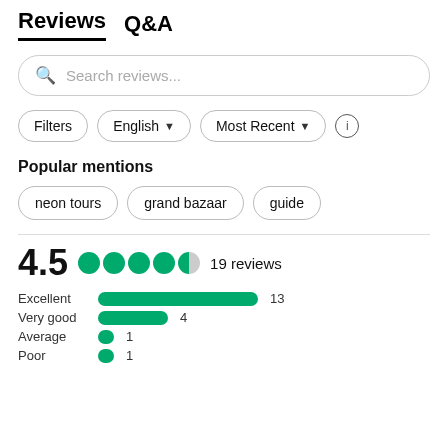Reviews  Q&A
Search reviews...
Filters  English  Most Recent
Popular mentions
neon tours
grand bazaar
guide
[Figure (infographic): Rating summary: 4.5 out of 5 bubbles, 19 reviews. Bar chart showing: Excellent 13, Very good 4, Average 1, Poor 1.]